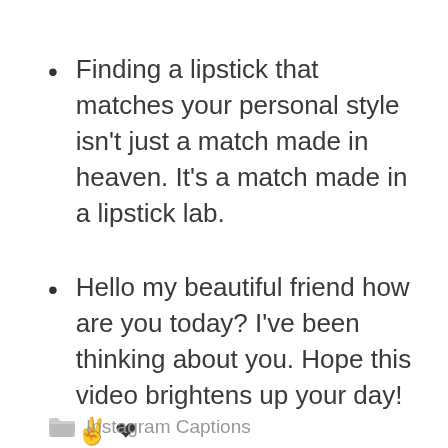Finding a lipstick that matches your personal style isn't just a match made in heaven. It's a match made in a lipstick lab.
Hello my beautiful friend how are you today? I've been thinking about you. Hope this video brightens up your day! ✌️❤️
Instagram Captions